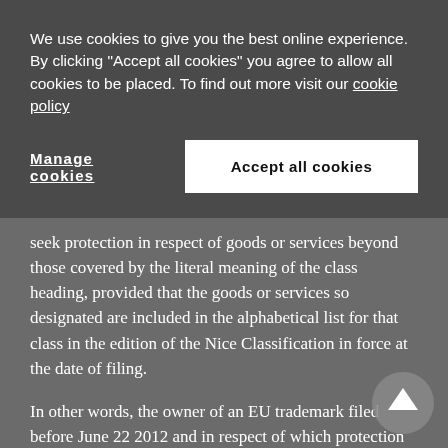We use cookies to give you the best online experience. By clicking "Accept all cookies" you agree to allow all cookies to be placed. To find out more visit our cookie policy
Manage cookies
Accept all cookies
seek protection in respect of goods or services beyond those covered by the literal meaning of the class heading, provided that the goods or services so designated are included in the alphabetical list for that class in the edition of the Nice Classification in force at the date of filing.
In other words, the owner of an EU trademark filed before June 22 2012 and in respect of which protection can be